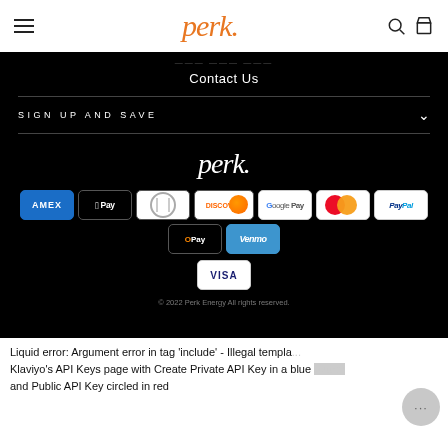perk
Contact Us
SIGN UP AND SAVE
[Figure (logo): Perk white logo on black background]
[Figure (infographic): Payment method icons: American Express, Apple Pay, Diners Club, Discover, Google Pay, Mastercard, PayPal, OPay, Venmo, Visa]
© 2022 Perk Energy All rights reserved.
Liquid error: Argument error in tag 'include' - Illegal templa... Klaviyo's API Keys page with Create Private API Key in a blue button and Public API Key circled in red